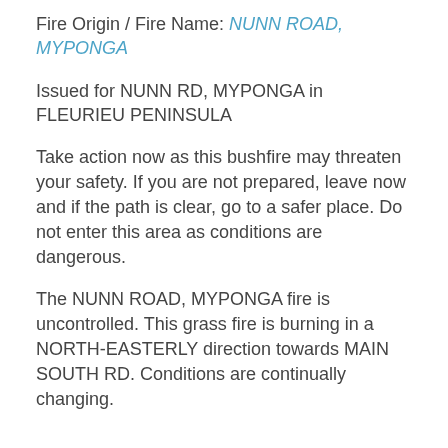Fire Origin / Fire Name: NUNN ROAD, MYPONGA
Issued for NUNN RD, MYPONGA in FLEURIEU PENINSULA
Take action now as this bushfire may threaten your safety. If you are not prepared, leave now and if the path is clear, go to a safer place. Do not enter this area as conditions are dangerous.
The NUNN ROAD, MYPONGA fire is uncontrolled. This grass fire is burning in a NORTH-EASTERLY direction towards MAIN SOUTH RD. Conditions are continually changing.